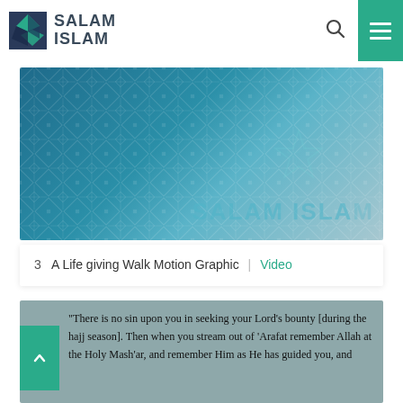[Figure (logo): Salam Islam logo with geometric diamond/leaf SVG icon and bold uppercase text 'SALAM ISLAM']
[Figure (illustration): Salam Islam banner image with teal/blue geometric Islamic pattern background and 'SALAM ISLAM' watermark text]
3  A Life giving Walk Motion Graphic | Video
"There is no sin upon you in seeking your Lord's bounty [during the hajj season]. Then when you stream out of 'Arafat remember Allah at the Holy Mash'ar, and remember Him as He has guided you, and